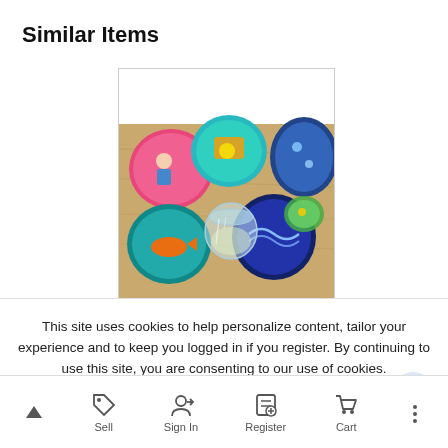Similar Items
[Figure (photo): Photo of colorful decorative pog/disc items with painted designs on a wooden surface, with a glass jar in the center.]
This site uses cookies to help personalize content, tailor your experience and to keep you logged in if you register. By continuing to use this site, you are consenting to our use of cookies.
Accept
Cookie usage
Pog ... ndition
US $30.00
Sell  Sign In  Register  Cart